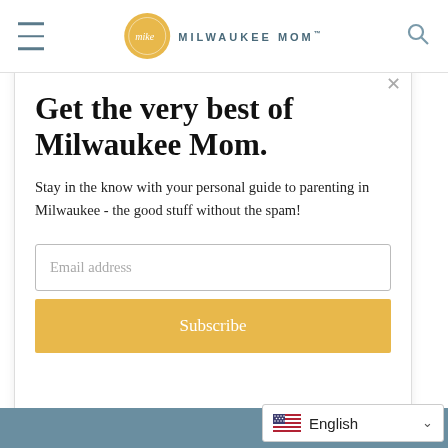MILWAUKEE MOM
Get the very best of Milwaukee Mom.
Stay in the know with your personal guide to parenting in Milwaukee - the good stuff without the spam!
Email address
Subscribe
English